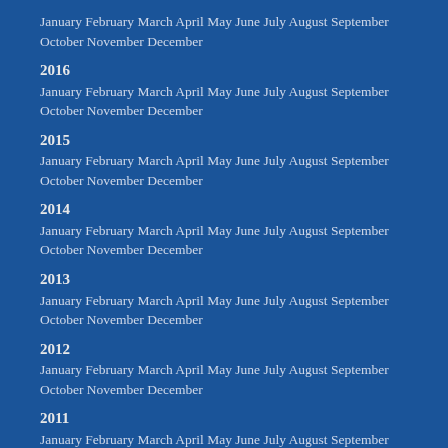January February March April May June July August September October November December
2016
January February March April May June July August September October November December
2015
January February March April May June July August September October November December
2014
January February March April May June July August September October November December
2013
January February March April May June July August September October November December
2012
January February March April May June July August September October November December
2011
January February March April May June July August September October November December